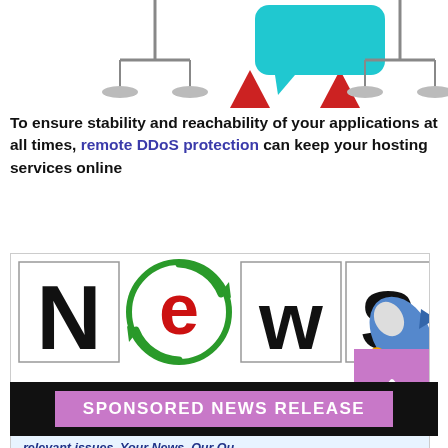[Figure (illustration): Top of page illustration showing balance scales, red triangles, and a teal speech bubble/chat icon centered between them.]
To ensure stability and reachability of your applications at all times, remote DDoS protection can keep your hosting services online
[Figure (logo): NewsBoosters logo — large stylized 'NEWS' letters with a rocket, and tagline 'A crowd-sourced News site about SEO relevant issues. Your News, Our Outreach']
SPONSORED NEWS RELEASE